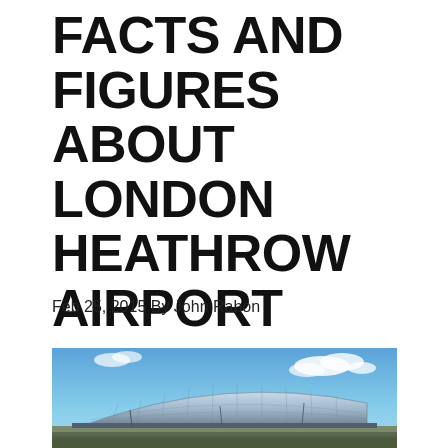FACTS AND FIGURES ABOUT LONDON HEATHROW AIRPORT
Feb 25, 2015 By John Rabon
[Figure (photo): Exterior view of London Heathrow Airport terminal building with large curved glass facade against a partly cloudy blue sky]